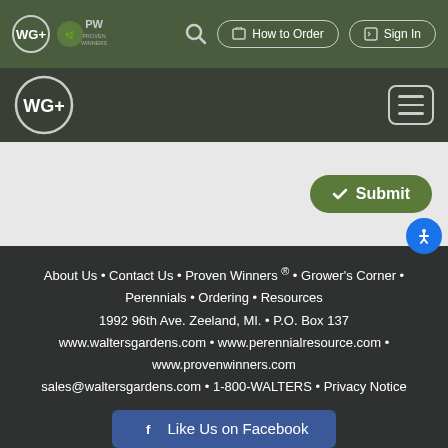[Figure (screenshot): Website header navigation bar with WG+ logo, PW Proven Winners logo, search icon, How to Order button, and Sign In button on dark green background]
[Figure (screenshot): Secondary navigation bar with large WG+ logo and hamburger menu icon on dark green-gray background]
[Figure (screenshot): Light gray content area with a green Submit button on the right]
About Us • Contact Us • Proven Winners ® • Grower's Corner • Perennials • Ordering • Resources
1992 96th Ave. Zeeland, MI. • P.O. Box 137
www.waltersgardens.com • www.perennialresource.com • www.provenwinners.com
sales@waltersgardens.com • 1-800-WALTERS • Privacy Notice
Like Us on Facebook